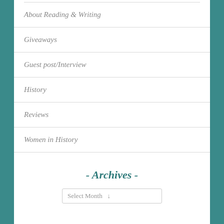About Reading & Writing
Giveaways
Guest post/Interview
History
Reviews
Women in History
- Archives -
Select Month